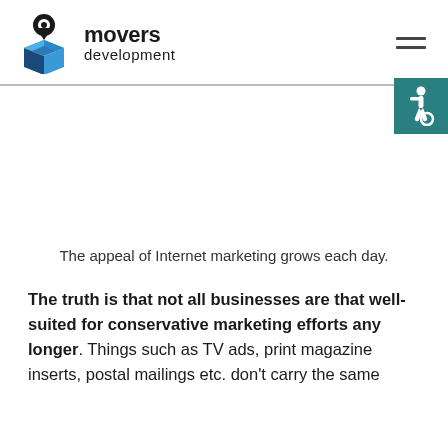[Figure (logo): Movers Development logo with a map pin icon above a blue open box, followed by bold text 'movers' and regular text 'development']
[Figure (other): Hamburger menu icon (two horizontal lines) in the top right corner]
[Figure (other): Teal/dark cyan accessibility icon (wheelchair symbol) in the top right area below the header]
The appeal of Internet marketing grows each day.
The truth is that not all businesses are that well-suited for conservative marketing efforts any longer. Things such as TV ads, print magazine inserts, postal mailings etc. don't carry the same